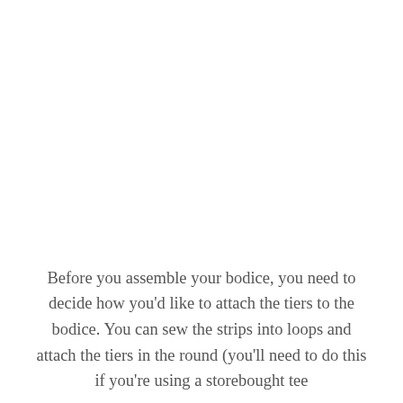Before you assemble your bodice, you need to decide how you'd like to attach the tiers to the bodice. You can sew the strips into loops and attach the tiers in the round (you'll need to do this if you're using a storebought tee